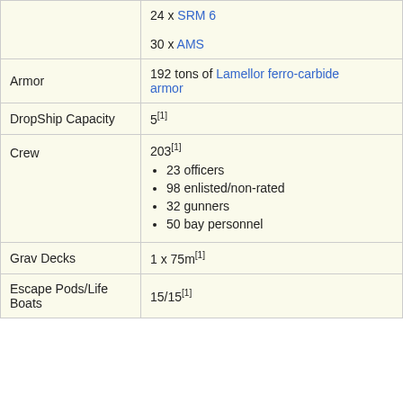|  | 24 x SRM 6
30 x AMS |
| Armor | 192 tons of Lamellor ferro-carbide armor |
| DropShip Capacity | 5[1] |
| Crew | 203[1]
• 23 officers
• 98 enlisted/non-rated
• 32 gunners
• 50 bay personnel |
| Grav Decks | 1 x 75m[1] |
| Escape Pods/Life Boats | 15/15[1] |